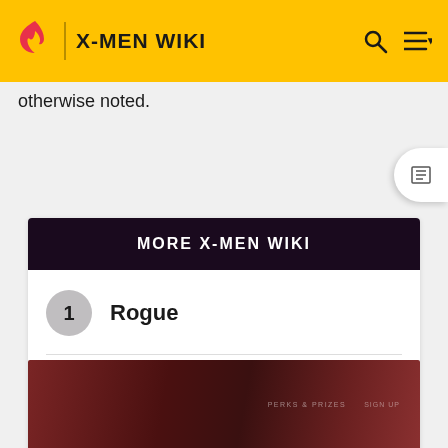X-MEN WIKI
otherwise noted.
MORE X-MEN WIKI
1 Rogue
2 Storm
3 Cyclops